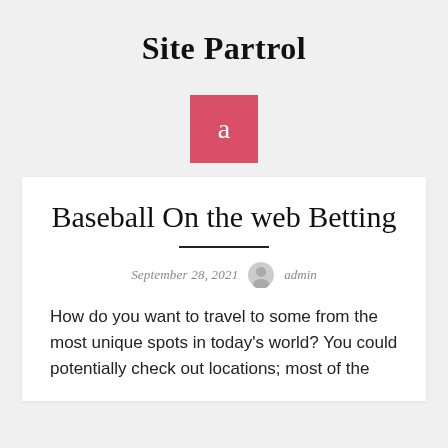Site Partrol
[Figure (logo): Red square with lowercase letter 'a' in white, representing an author avatar or site logo]
Baseball On the web Betting
September 28, 2021   admin
How do you want to travel to some from the most unique spots in today's world? You could potentially check out locations; most of the